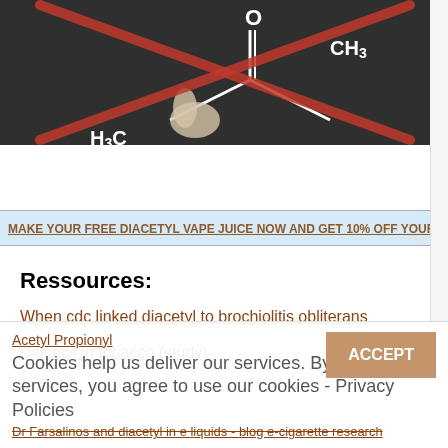[Figure (photo): Dark chalkboard image showing a chemical structure formula (H3C, CH3, C=O groups) being written/crossed out by a hand holding chalk, with a large orange/red X drawn over the formula.]
MAKE YOUR FREE DIACETYL VAPE JUICE NOW AND GET 10% OFF YOUR
Ressources:
When cdc linked diacetyl to brochiolitis obliterans
Diacetyl in tobacco (study)
Acetyl Propionyl
Cookies help us deliver our services. By using our services, you agree to use our cookies - Privacy Policies
Dr Farsalinos and diacetyl in e liquids - blog e-cigarette research